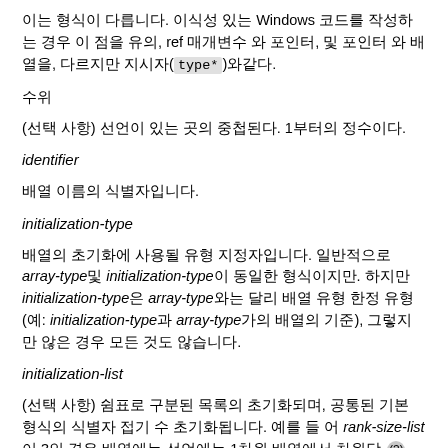이는 형식이 다릅니다. 이식성 있는 Windows 코드를 작성하는 경우 이 점을 유의, ref 매개변수 와 포인터, 및 포인터 와 배열을, 다르지만 지시자( type* )와같다.
수위
(선택 사항) 선언이 있는 곳의 중첩된다. 1부터의 정수이다.
identifier
배열 이름의 식별자입니다.
initialization-type
배열의 초기화에 사용될 유형 지정자입니다. 일반적으로 array-type및 initialization-type이 동일한 형식이지만. 하지만 initialization-type은 array-type와는 달리 배열 유형 한정 유형(예: initialization-type과 array-type가의 배열의 기준), 그렇지만 않은 경우 모든 것도 않습니다.
initialization-list
(선택 사항) 쉼표로 구분된 목록의 초기화되며, 공통된 기본 형식의 식별자 접기 수 초기화됩니다. 예를 들 어 rank-size-list이 3인 경우 배열에는 선언에는 1차원 배열에서 차원당  (3)  만큼 initialization list이 {1, 2, 3} 인 수 정의됩니다.